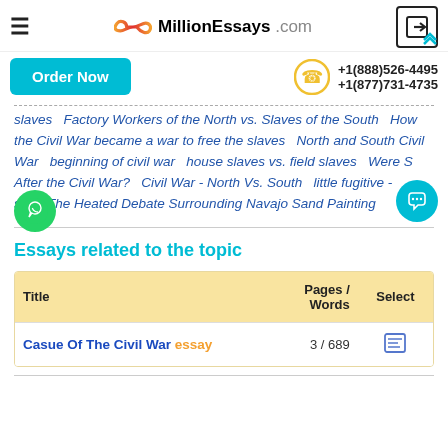MillionEssays.com
Order Now  +1(888)526-4495  +1(877)731-4735
slaves  Factory Workers of the North vs. Slaves of the South  How the Civil War became a war to free the slaves  North and South Civil War  beginning of civil war  house slaves vs. field slaves  Were S After the Civil War?  Civil War - North Vs. South  little fugitive - son  The Heated Debate Surrounding Navajo Sand Painting
Essays related to the topic
| Title | Pages / Words | Select |
| --- | --- | --- |
| Casue Of The Civil War essay | 3 / 689 |  |